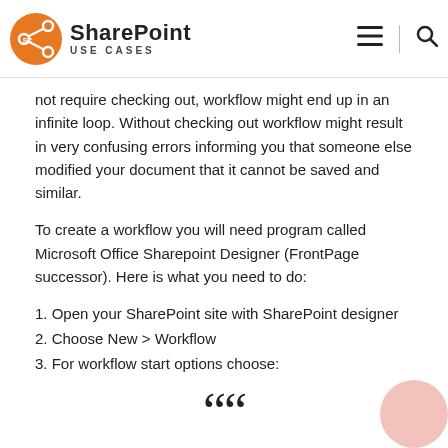SharePoint USE CASES
not require checking out, workflow might end up in an infinite loop. Without checking out workflow might result in very confusing errors informing you that someone else modified your document that it cannot be saved and similar.
To create a workflow you will need program called Microsoft Office Sharepoint Designer (FrontPage successor). Here is what you need to do:
1. Open your SharePoint site with SharePoint designer
2. Choose New > Workflow
3. For workflow start options choose:
““
a. Automatically start this workflow when a new item is